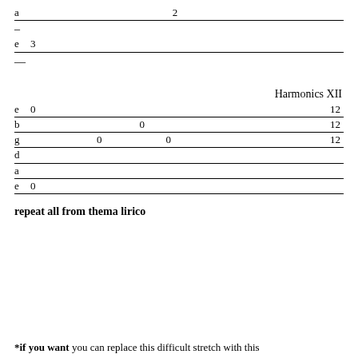[Figure (other): Guitar tablature staff line: string 'a' with underline extending full width, and a number 2 in the middle]
–
[Figure (other): Guitar tablature staff line: string 'e' with fret number 3, underline extending full width]
—
Harmonics XII
[Figure (other): Guitar tablature for Harmonics XII section: 6 strings (e, b, g, d, a, e) with fret numbers 0 and 12 on e, b, g strings]
repeat all from thema lirico
*if you want you can replace this difficult stretch with this